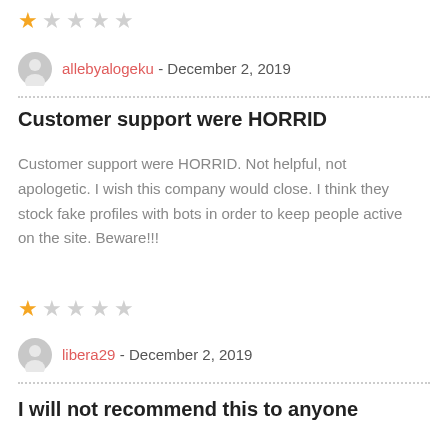[Figure (other): Star rating: 1 out of 5 stars (first review)]
allebyalogeku - December 2, 2019
Customer support were HORRID
Customer support were HORRID. Not helpful, not apologetic. I wish this company would close. I think they stock fake profiles with bots in order to keep people active on the site. Beware!!!
[Figure (other): Star rating: 1 out of 5 stars (second review)]
libera29 - December 2, 2019
I will not recommend this to anyone